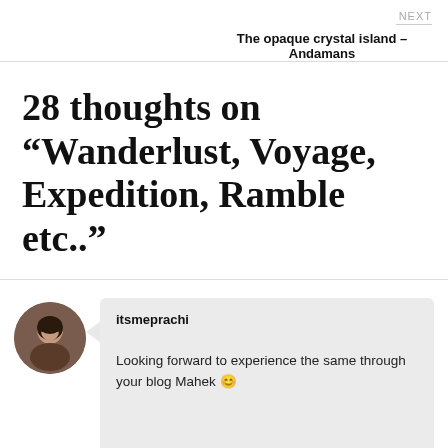NEXT
The opaque crystal island – Andamans
28 thoughts on “Wanderlust, Voyage, Expedition, Ramble etc..”
[Figure (photo): Circular avatar photo of a woman]
itsmeprachi

Looking forward to experience the same through your blog Mahek 😊